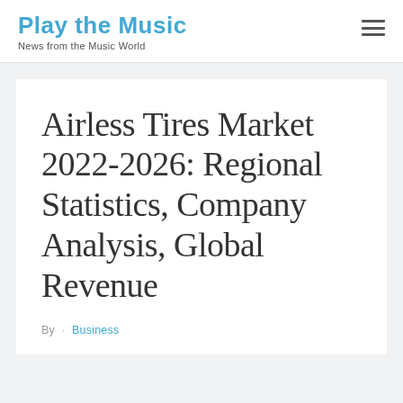Play the Music
News from the Music World
Airless Tires Market 2022-2026: Regional Statistics, Company Analysis, Global Revenue
By · Business